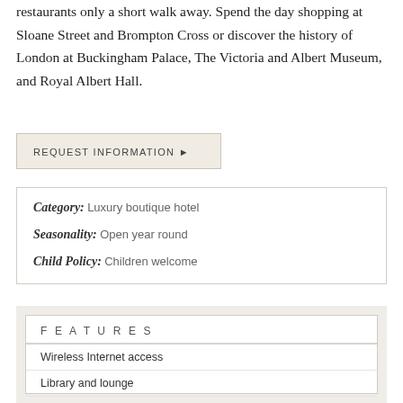restaurants only a short walk away. Spend the day shopping at Sloane Street and Brompton Cross or discover the history of London at Buckingham Palace, The Victoria and Albert Museum, and Royal Albert Hall.
REQUEST INFORMATION ▶
| Category: | Luxury boutique hotel |
| Seasonality: | Open year round |
| Child Policy: | Children welcome |
FEATURES
Wireless Internet access
Library and lounge